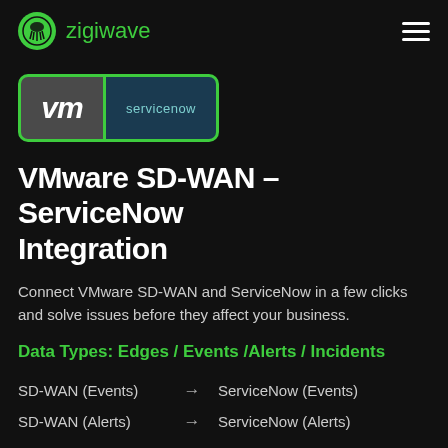zigiwave
[Figure (logo): VMware and ServiceNow logo tiles side by side with green border]
VMware SD-WAN – ServiceNow Integration
Connect VMware SD-WAN and ServiceNow in a few clicks and solve issues before they affect your business.
Data Types: Edges / Events /Alerts / Incidents
SD-WAN (Events) → ServiceNow (Events)
SD-WAN (Alerts) → ServiceNow (Alerts)